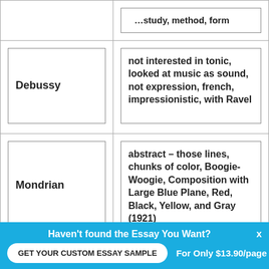| Artist | Description |
| --- | --- |
|  | ...study, method, form |
| Debussy | not interested in tonic, looked at music as sound, not expression, french, impressionistic, with Ravel |
| Mondrian | abstract – those lines, chunks of color, Boogie-Woogie, Composition with Large Blue Plane, Red, Black, Yellow, and Gray (1921) |
Haven't found the Essay You Want?
GET YOUR CUSTOM ESSAY SAMPLE
For Only $13.90/page